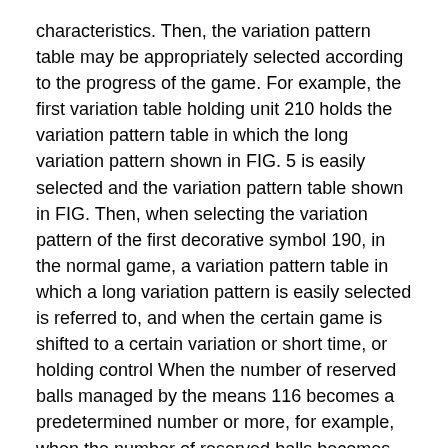characteristics. Then, the variation pattern table may be appropriately selected according to the progress of the game. For example, the first variation table holding unit 210 holds the variation pattern table in which the long variation pattern shown in FIG. 5 is easily selected and the variation pattern table shown in FIG. Then, when selecting the variation pattern of the first decorative symbol 190, in the normal game, a variation pattern table in which a long variation pattern is easily selected is referred to, and when the certain game is shifted to a certain variation or short time, or holding control When the number of reserved balls managed by the means 116 becomes a predetermined number or more, for example, when the number of reserved balls becomes three or more, a variation pattern table in which a short variation pattern can be easily selected may be referred to. In this case, by using different variation pattern tables and changing the variation time clearly, a game in which a reach effect is frequently performed is provided in a normal game, and a result of a lottery is efficiently displayed in a specific game Can be provided. Thus, by appropriately selecting the variation pattern table to be used, different game forms